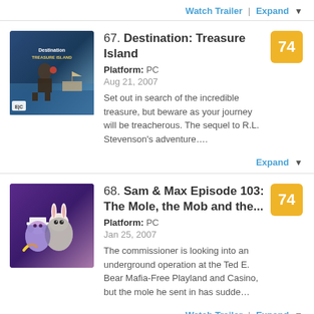Watch Trailer | Expand ▼
67. Destination: Treasure Island
Platform: PC
Aug 21, 2007
Set out in search of the incredible treasure, but beware as your journey will be treacherous. The sequel to R.L. Stevenson's adventure….
Expand ▼
68. Sam & Max Episode 103: The Mole, the Mob and the...
Platform: PC
Jan 25, 2007
The commissioner is looking into an underground operation at the Ted E. Bear Mafia-Free Playland and Casino, but the mole he sent in has sudde…
Watch Trailer | Expand ▼